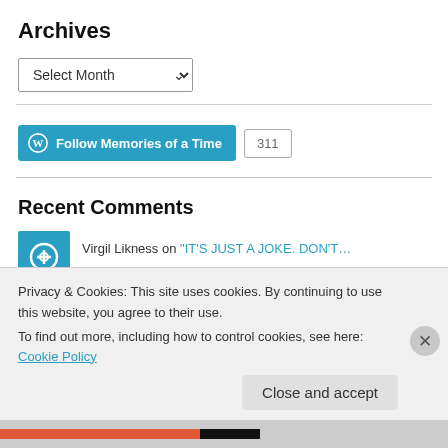Archives
Select Month
[Figure (other): Follow Memories of a Time WordPress follow button with count 311]
Recent Comments
Virgil Likness on “IT’S JUST A JOKE.  DON’T…”
DON BRINKMAN on “IT’S JUST A JOKE.  DON’T…
Privacy & Cookies: This site uses cookies. By continuing to use this website, you agree to their use.
To find out more, including how to control cookies, see here: Cookie Policy
Close and accept